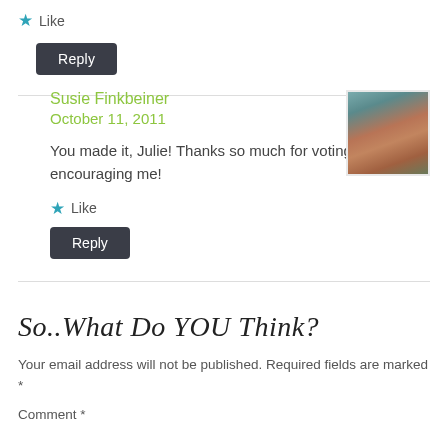★ Like
Reply
Susie Finkbeiner
October 11, 2011
[Figure (photo): Profile photo of a woman with brown hair, smiling, with a blue/green background]
You made it, Julie! Thanks so much for voting and for encouraging me!
★ Like
Reply
So..What Do YOU Think?
Your email address will not be published. Required fields are marked *
Comment *